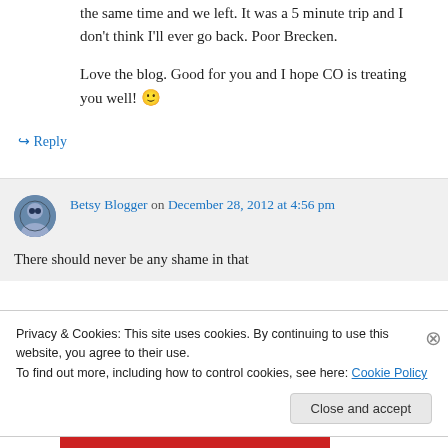the same time and we left. It was a 5 minute trip and I don't think I'll ever go back. Poor Brecken.
Love the blog. Good for you and I hope CO is treating you well! 🙂
↪ Reply
Betsy Blogger on December 28, 2012 at 4:56 pm
There should never be any shame in that
Privacy & Cookies: This site uses cookies. By continuing to use this website, you agree to their use.
To find out more, including how to control cookies, see here: Cookie Policy
Close and accept